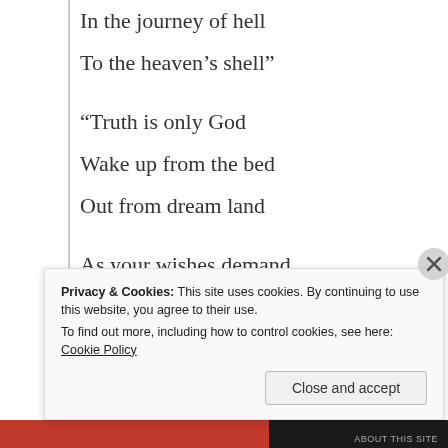In the journey of hell
To the heaven's shell"

"Truth is only God
Wake up from the bed
Out from dream land
As your wishes demand
And thoughts command
Live like a legend
Until your travel end"
Privacy & Cookies: This site uses cookies. By continuing to use this website, you agree to their use.
To find out more, including how to control cookies, see here: Cookie Policy
Close and accept